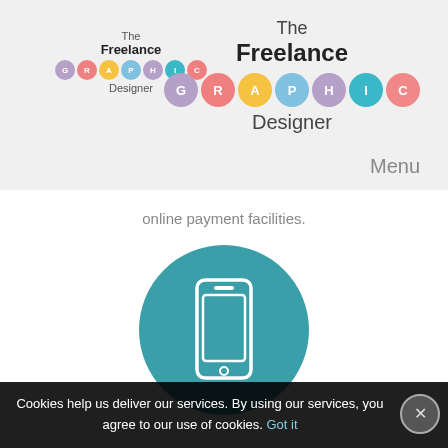[Figure (logo): Small 'The Freelance GRAPHIC Designer' logo with colorful circle letters, top-left of header]
[Figure (logo): Large 'The Freelance GRAPHIC Designer' logo with colorful circle letters, top-right of header]
Menu
online payment facilities.
[Figure (illustration): Teal circle containing a white smartphone icon]
Cookies help us deliver our services. By using our services, you agree to our use of cookies. Got it